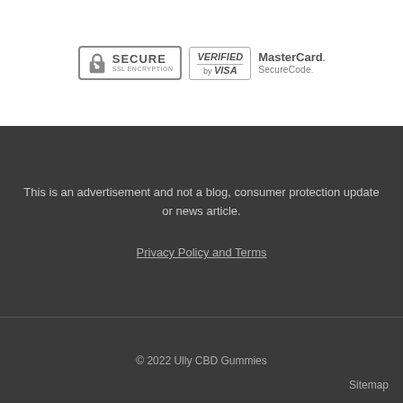[Figure (logo): Security badge icons: Secure SSL Encryption lock badge, Verified by Visa badge, MasterCard SecureCode badge]
This is an advertisement and not a blog, consumer protection update or news article.
Privacy Policy and Terms
© 2022 Ully CBD Gummies
Sitemap